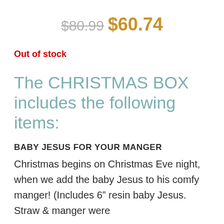$80.99 $60.74
Out of stock
The CHRISTMAS BOX includes the following items:
BABY JESUS FOR YOUR MANGER
Christmas begins on Christmas Eve night, when we add the baby Jesus to his comfy manger! (Includes 6” resin baby Jesus. Straw & manger were